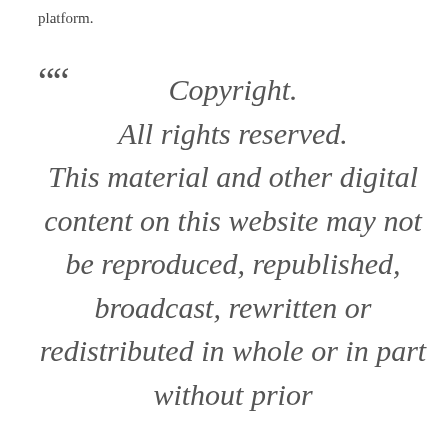platform.
“ Copyright. All rights reserved. This material and other digital content on this website may not be reproduced, republished, broadcast, rewritten or redistributed in whole or in part without prior